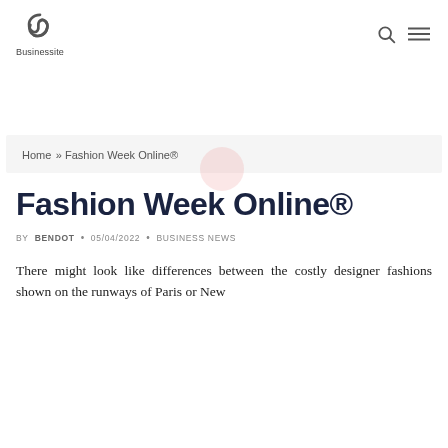Businessite
Home » Fashion Week Online®
Fashion Week Online®
BY BENDOT · 05/04/2022 · BUSINESS NEWS
There might look like differences between the costly designer fashions shown on the runways of Paris or New